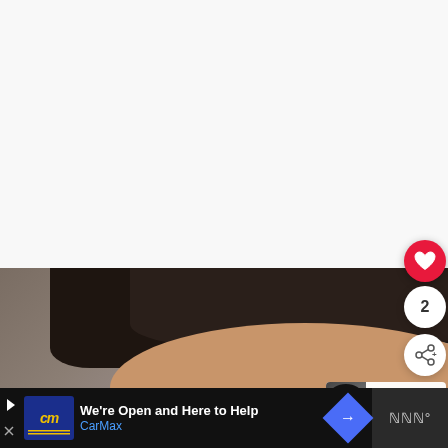[Figure (photo): White/light gray background area at top of page, approximately the upper 60% of the page]
[Figure (photo): Cropped headshot photo of a man with dark short hair and medium skin tone against a grayish-brown background, visible from the top of head to just above the eyebrows]
[Figure (screenshot): UI overlay elements: red heart/like button (top right), count badge showing '2', share button with share icon, and an author preview card with avatar showing 'WH', 'Jo', 'Ac' text fragments]
[Figure (screenshot): Advertisement bar at bottom: CarMax ad with blue CM logo, text 'We're Open and Here to Help' and 'CarMax' in blue, a blue diamond navigation arrow icon, and a dark right section with Waze logo]